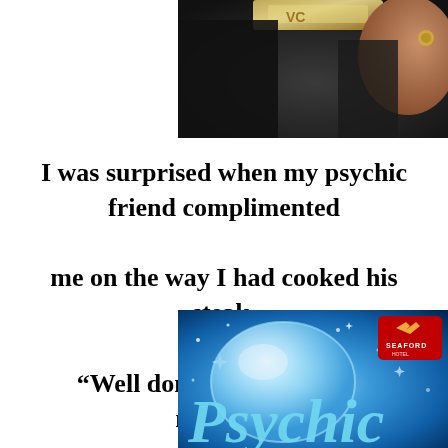[Figure (photo): Cropped photo of a person wearing a decorative crown/tiara, with a hand visible showing a ring, dark background]
I was surprised when my psychic friend complimented

me on the way I had cooked his steak.

“Well done” is rare from a medium.
[Figure (photo): Promotional image for a Psychic event at Seaford Hotel, featuring a glowing crystal ball with sparkles on a blue mystical background with the word 'Psychic' in stylized script, Seaford logo in top right corner]